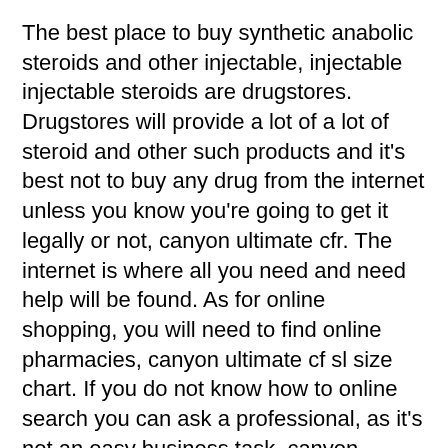The best place to buy synthetic anabolic steroids and other injectable, injectable injectable steroids are drugstores. Drugstores will provide a lot of a lot of steroid and other such products and it's best not to buy any drug from the internet unless you know you're going to get it legally or not, canyon ultimate cfr. The internet is where all you need and need help will be found. As for online shopping, you will need to find online pharmacies, canyon ultimate cf sl size chart. If you do not know how to online search you can ask a professional, as it's not an easy business task, canyon ultimate slx.
In addition to online shopping there are also websites where you can get high quality steroids but not illegal or illegal steroids. These are not drugstuffs and do not violate any laws and regulations in the United States, canyon ultimate cf slx frame weight.